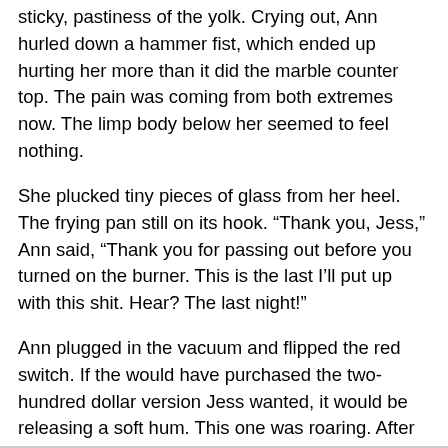The piercing came before the drumming, which produced the sticky, pastiness of the yolk. Crying out, Ann hurled down a hammer fist, which ended up hurting her more than it did the marble counter top. The pain was coming from both extremes now. The limp body below her seemed to feel nothing.
She plucked tiny pieces of glass from her heel. The frying pan still on its hook. “Thank you, Jess,” Ann said, “Thank you for passing out before you turned on the burner. This is the last I’ll put up with this shit. Hear? The last night!”
Ann plugged in the vacuum and flipped the red switch. If the would have purchased the two-hundred dollar version Jess wanted, it would be releasing a soft hum. This one was roaring. After all the glass and egg shells were sucked from the floor she pushed it up near Jessica’s ear. A pasty cheek quivered but didn’t move.